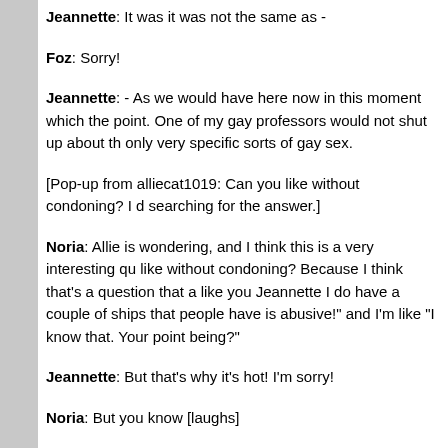Jeannette: It was it was not the same as -
Foz: Sorry!
Jeannette: - As we would have here now in this moment which the point. One of my gay professors would not shut up about th only very specific sorts of gay sex.
[Pop-up from alliecat1019: Can you like without condoning? I d searching for the answer.]
Noria: Allie is wondering, and I think this is a very interesting qu like without condoning? Because I think that's a question that a like you Jeannette I do have a couple of ships that people have is abusive!" and I'm like "I know that. Your point being?"
Jeannette: But that's why it's hot! I'm sorry!
Noria: But you know [laughs]